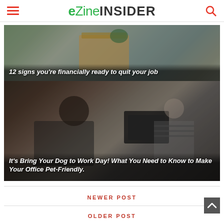eZine INSIDER
[Figure (photo): Person holding a cardboard box with office belongings, overlay text: 12 signs you're financially ready to quit your job]
[Figure (photo): Woman working at an office desk with coworker in background, overlay text: It's Bring Your Dog to Work Day! What You Need to Know to Make Your Office Pet-Friendly.]
NEWER POST
OLDER POST